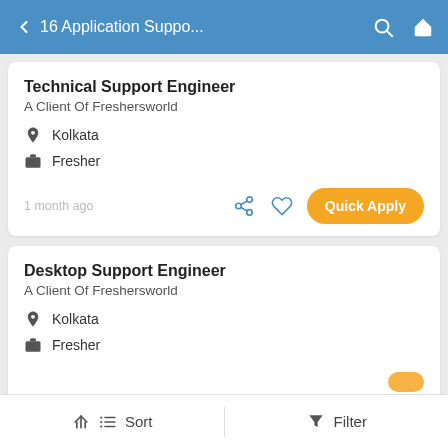16 Application Suppo...
Technical Support Engineer
A Client Of Freshersworld
Kolkata
Fresher
1 month ago
Quick Apply
Desktop Support Engineer
A Client Of Freshersworld
Kolkata
Fresher
Sort  Filter